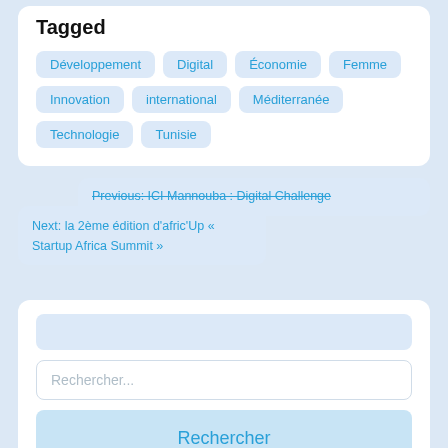Tagged
Développement
Digital
Économie
Femme
Innovation
international
Méditerranée
Technologie
Tunisie
Previous: ICI Mannouba : Digital Challenge
Next: la 2ème édition d'afric'Up « Startup Africa Summit »
Rechercher...
Rechercher